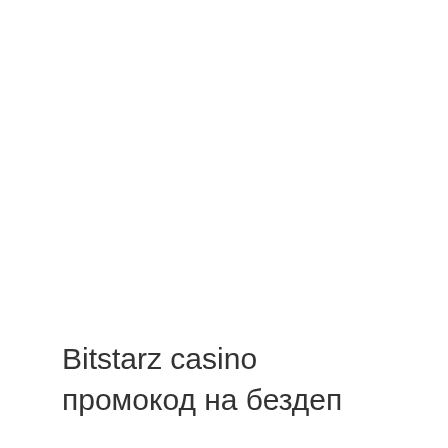Bitstarz casino промокод на бездеп